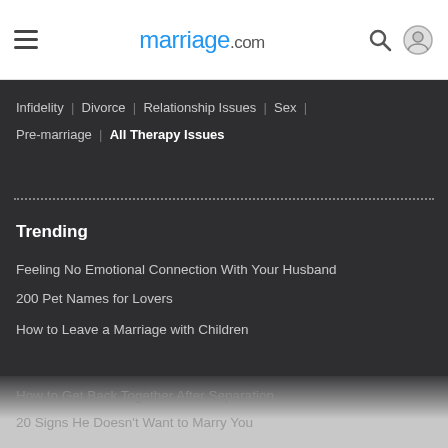marriage.com navigation header with hamburger menu, logo, search and account icons
Infidelity | Divorce | Relationship Issues | Sex | Pre-marriage | All Therapy Issues
Trending
Feeling No Emotional Connection With Your Husband
200 Pet Names for Lovers
How to Leave a Marriage with Children
How to Get Back Together After Separation
20 Signs He Doesn't Want to Marry You